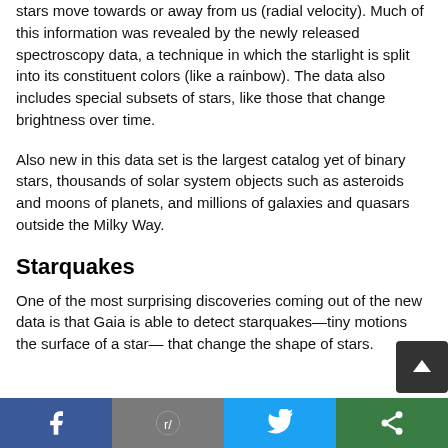stars move towards or away from us (radial velocity). Much of this information was revealed by the newly released spectroscopy data, a technique in which the starlight is split into its constituent colors (like a rainbow). The data also includes special subsets of stars, like those that change brightness over time.
Also new in this data set is the largest catalog yet of binary stars, thousands of solar system objects such as asteroids and moons of planets, and millions of galaxies and quasars outside the Milky Way.
Starquakes
One of the most surprising discoveries coming out of the new data is that Gaia is able to detect starquakes—tiny motions the surface of a star— that change the shape of stars.